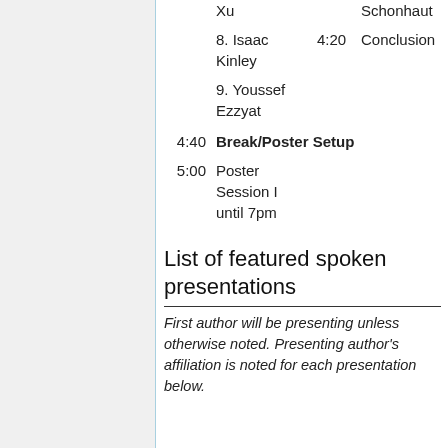Xu
Schonhaut
8. Isaac Kinley	4:20	Conclusion
9. Youssef Ezzyat
4:40	Break/Poster Setup
5:00	Poster Session I until 7pm
List of featured spoken presentations
First author will be presenting unless otherwise noted. Presenting author's affiliation is noted for each presentation below.